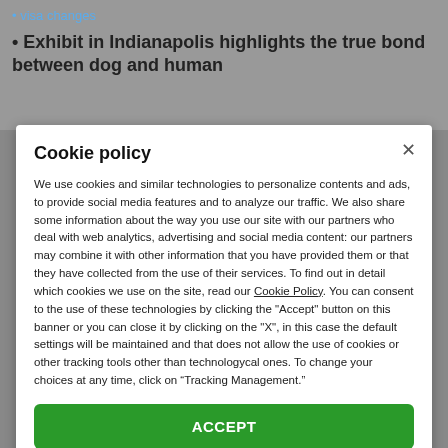visa changes
Exhibit in Indianapolis highlights the true bond between dog and human
Cookie policy
We use cookies and similar technologies to personalize contents and ads, to provide social media features and to analyze our traffic. We also share some information about the way you use our site with our partners who deal with web analytics, advertising and social media content: our partners may combine it with other information that you have provided them or that they have collected from the use of their services. To find out in detail which cookies we use on the site, read our Cookie Policy. You can consent to the use of these technologies by clicking the "Accept" button on this banner or you can close it by clicking on the "X", in this case the default settings will be maintained and that does not allow the use of cookies or other tracking tools other than technologycal ones. To change your choices at any time, click on “Tracking Management.”
ACCEPT
TRACKERS MANAGEMENT
Show vendors | Show purposes